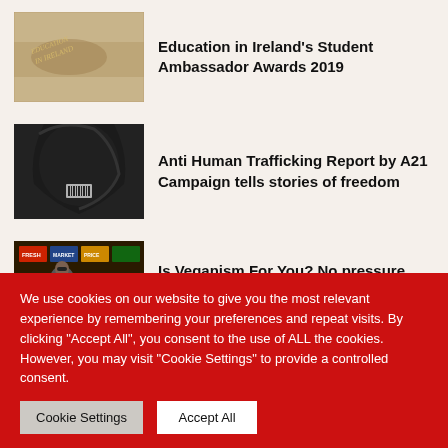[Figure (photo): Close-up of a fabric/jacket with 'Education in Ireland' branding embroidered on it]
Education in Ireland's Student Ambassador Awards 2019
[Figure (photo): Black and white photo of a person with long dark hair, showing a barcode tattoo on their neck]
Anti Human Trafficking Report by A21 Campaign tells stories of freedom
[Figure (photo): Photo of a man at a market stall with fruits and vegetables, colorful signs in background]
Is Veganism For You? No pressure, like.
We use cookies on our website to give you the most relevant experience by remembering your preferences and repeat visits. By clicking "Accept All", you consent to the use of ALL the cookies. However, you may visit "Cookie Settings" to provide a controlled consent.